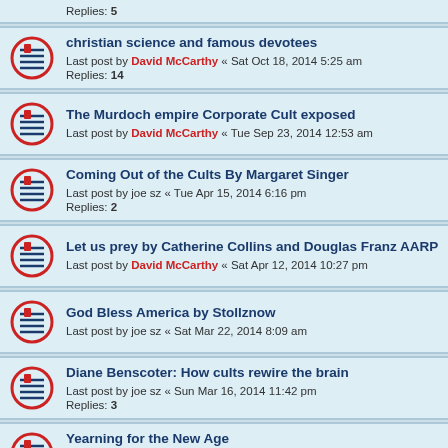Replies: 5
christian science and famous devotees
Last post by David McCarthy « Sat Oct 18, 2014 5:25 am
Replies: 14
The Murdoch empire Corporate Cult exposed
Last post by David McCarthy « Tue Sep 23, 2014 12:53 am
Coming Out of the Cults By Margaret Singer
Last post by joe sz « Tue Apr 15, 2014 6:16 pm
Replies: 2
Let us prey by Catherine Collins and Douglas Franz AARP
Last post by David McCarthy « Sat Apr 12, 2014 10:27 pm
God Bless America by Stollznow
Last post by joe sz « Sat Mar 22, 2014 8:09 am
Diane Benscoter: How cults rewire the brain
Last post by joe sz « Sun Mar 16, 2014 11:42 pm
Replies: 3
Yearning for the New Age
Last post by joe sz « Mon Dec 02, 2013 8:27 pm
Replies: 2
Corporate Cults: The Insidious Lure of the All-Consuming Org
Last post by David McCarthy « Sat Nov 30, 2013 2:35 am
A Perfect Target: Beware the techniques of the Sociopath
Last post by Cedar « Sun Sep 01, 2013 2:22 am
Replies: 4